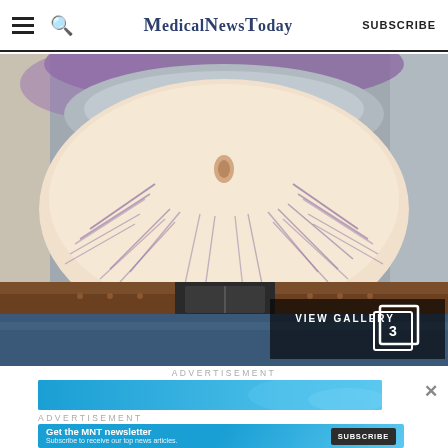MedicalNewsToday
[Figure (photo): Close-up photo of a person's abdomen showing stretch marks (striae), wearing jeans with a brown belt and a gray shirt pulled up. The stretch marks are visible as purple/red lines radiating outward from the navel area. A 'VIEW GALLERY 3' overlay appears at the bottom right.]
ADVERTISEMENT
[Figure (screenshot): Blue advertisement banner for MedicalNewsToday newsletter subscription. Text reads 'Get the MNT newsletter' with subtitle 'Subscribe to receive our top news articles.' and a dark SUBSCRIBE button.]